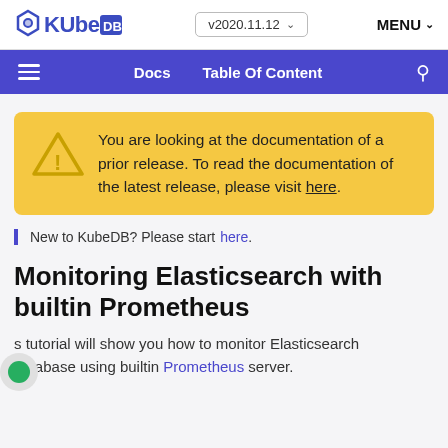KubeDB v2020.11.12 MENU
Docs  Table Of Content
You are looking at the documentation of a prior release. To read the documentation of the latest release, please visit here.
New to KubeDB? Please start here.
Monitoring Elasticsearch with builtin Prometheus
s tutorial will show you how to monitor Elasticsearch database using builtin Prometheus server.